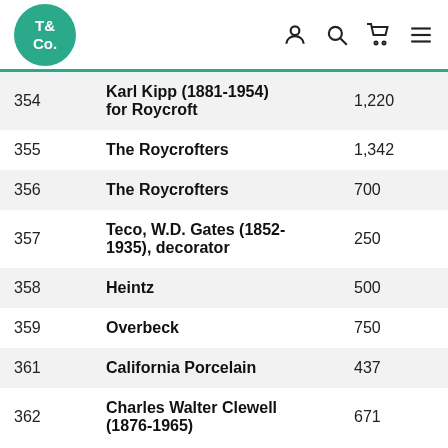T& Co. logo with navigation icons
| Lot | Name | Price |
| --- | --- | --- |
| 354 | Karl Kipp (1881-1954) for Roycroft | 1,220 |
| 355 | The Roycrofters | 1,342 |
| 356 | The Roycrofters | 700 |
| 357 | Teco, W.D. Gates (1852-1935), decorator | 250 |
| 358 | Heintz | 500 |
| 359 | Overbeck | 750 |
| 361 | California Porcelain | 437 |
| 362 | Charles Walter Clewell (1876-1965) | 671 |